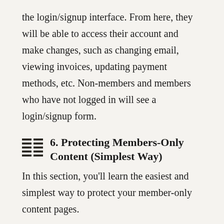the login/signup interface. From here, they will be able to access their account and make changes, such as changing email, viewing invoices, updating payment methods, etc. Non-members and members who have not logged in will see a login/signup form.
6. Protecting Members-Only Content (Simplest Way)
In this section, you'll learn the easiest and simplest way to protect your member-only content pages.